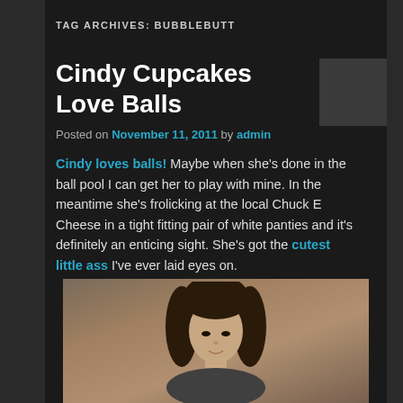TAG ARCHIVES: BUBBLEBUTT
Cindy Cupcakes Love Balls
Posted on November 11, 2011 by admin
Cindy loves balls! Maybe when she's done in the ball pool I can get her to play with mine. In the meantime she's frolicking at the local Chuck E Cheese in a tight fitting pair of white panties and it's definitely an enticing sight. She's got the cutest little ass I've ever laid eyes on.
[Figure (photo): Portrait photo of a young woman with dark shoulder-length hair against a brown/tan background]